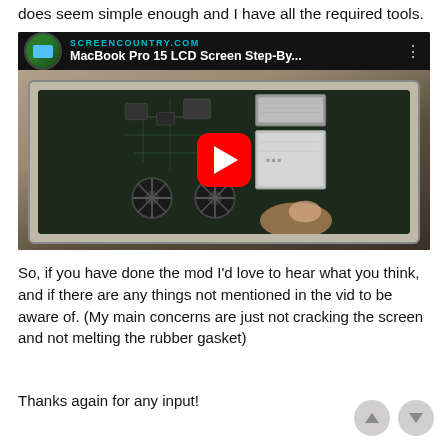does seem simple enough and I have all the required tools.
[Figure (screenshot): YouTube video thumbnail showing MacBook Pro 15 LCD Screen Step-By... from SCREENCOUNTRY.COM, with a person's hands working on an open MacBook Pro showing the interior circuit board, fans, and hard drives. A red YouTube play button is overlaid in the center.]
So, if you have done the mod I'd love to hear what you think, and if there are any things not mentioned in the vid to be aware of. (My main concerns are just not cracking the screen and not melting the rubber gasket)
Thanks again for any input!